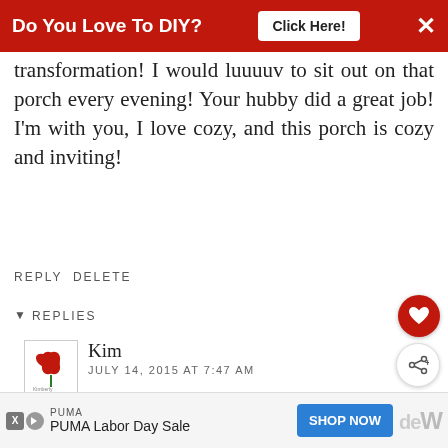[Figure (screenshot): Red banner advertisement: 'Do You Love To DIY?' with 'Click Here!' button and X close button]
transformation! I would luuuuv to sit out on that porch every evening! Your hubby did a great job! I'm with you, I love cozy, and this porch is cozy and inviting!
REPLY DELETE
REPLIES
Kim
JULY 14, 2015 AT 7:47 AM
He is a really [talented] builder/ creator Kimberly, thanks. I guess being a [...]
[Figure (infographic): WHAT'S NEXT overlay showing 'Cottage Style Summer...' with a circular image]
[Figure (screenshot): PUMA advertisement bar with 'PUMA Labor Day Sale' and 'SHOP NOW' blue button]